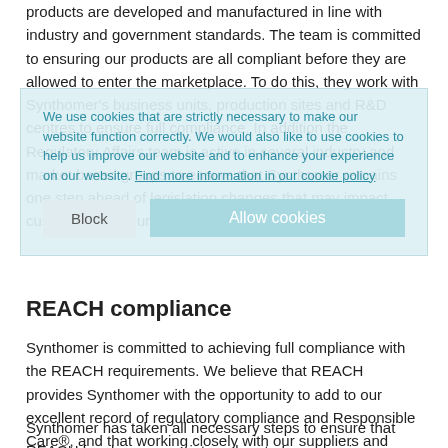products are developed and manufactured in line with industry and government standards. The team is committed to ensuring our products are all compliant before they are allowed to enter the marketplace. To do this, they work with Synthomer's business units, production sites and R&D centres to ensure full compliance. In addition the Regulatory Affairs team is active in several industry and market based groups to ensure that Synthomer remains one step ahead of legislation changes that may impact customers and our business.
[Figure (screenshot): Cookie consent overlay banner with teal/light blue background. Contains text: 'We use cookies that are strictly necessary to make our website function correctly. We would also like to use cookies to help us improve our website and to enhance your experience on our website. Find more information in our cookie policy'. Two buttons: 'Block' and 'Allow cookies'.]
REACH compliance
Synthomer is committed to achieving full compliance with the REACH requirements. We believe that REACH provides Synthomer with the opportunity to add to our excellent record of regulatory compliance and Responsible Care®, and that working closely with our suppliers and customers is key to ensuring compliance.
Synthomer has taken all necessary steps to ensure that REACH has become an integral part of our ongoing business